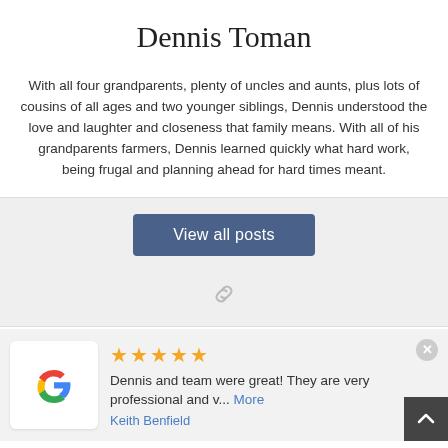Dennis Toman
With all four grandparents, plenty of uncles and aunts, plus lots of cousins of all ages and two younger siblings, Dennis understood the love and laughter and closeness that family means. With all of his grandparents farmers, Dennis learned quickly what hard work, being frugal and planning ahead for hard times meant.
View all posts
[Figure (other): Chain link icon]
[Figure (logo): Google G logo]
★★★★★ Dennis and team were great! They are very professional and v... More Keith Benfield